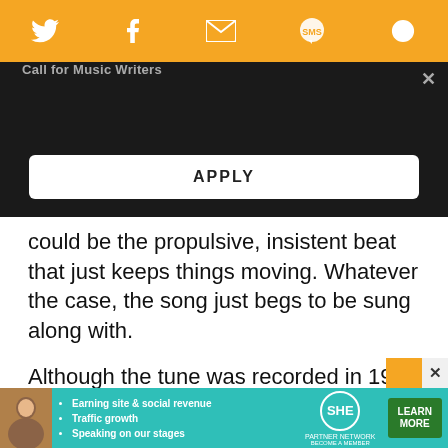[Figure (screenshot): Orange social share toolbar with Twitter, Facebook, email, SMS, and another icon in white on orange background]
Call for Music Writers
[Figure (screenshot): Black banner with APPLY button and close X]
could be the propulsive, insistent beat that just keeps things moving. Whatever the case, the song just begs to be sung along with.
Although the tune was recorded in 1964, Motown did not release “Jimmy Mack” until 1967, allegedly because of the Vietnam War. The lyrics, about a girl being wooed by another man while her loved one is away, were deemed inappropriate while sold
[Figure (advertisement): SHE Partner Network ad with teal background, person photo, bullet points about earning, traffic, speaking, logo, and Learn More button]